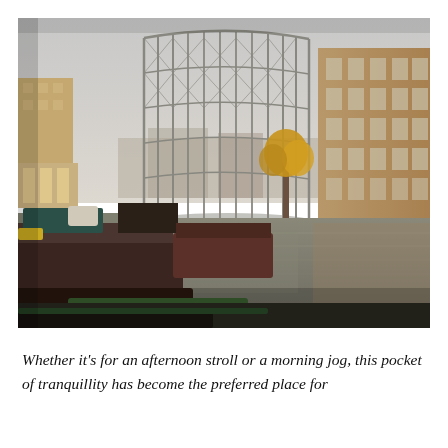[Figure (photo): Urban canal scene showing narrowboats moored along a waterway. In the background stands a large Victorian-era cylindrical gas holder/gasometer made of iron lattice framework. On the right side are tall brick warehouse or residential buildings reflected in the still canal water. A golden-leafed autumn tree is visible between the gasometer and the buildings. The sky is overcast and grey. The foreground shows the top deck of a narrowboat with green and dark-coloured coverings.]
Whether it's for an afternoon stroll or a morning jog, this pocket of tranquillity has become the preferred place for